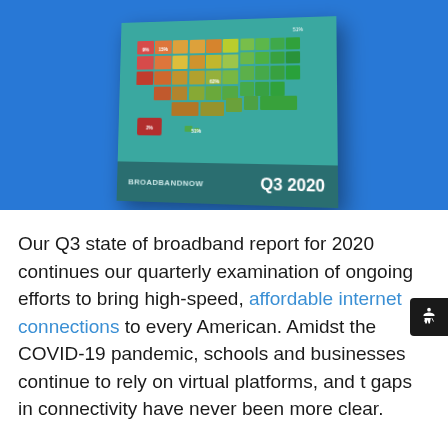[Figure (map): BroadbandNow Q3 2020 US broadband coverage map showing states colored from red (low coverage) to green (high coverage), with a teal background card showing the map and footer with 'BROADBANDNOW Q3 2020' label]
Our Q3 state of broadband report for 2020 continues our quarterly examination of ongoing efforts to bring high-speed, affordable internet connections to every American. Amidst the COVID-19 pandemic, schools and businesses continue to rely on virtual platforms, and the gaps in connectivity have never been more clear.